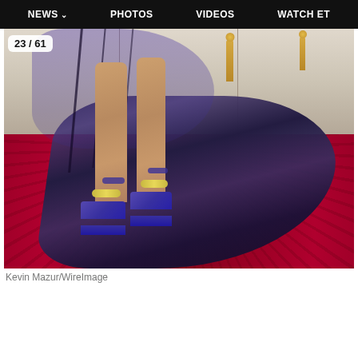NEWS  PHOTOS  VIDEOS  WATCH ET
[Figure (photo): Close-up photo of a person's legs on a red carpet at what appears to be the Oscars, wearing purple platform heels with crystal ankle straps, with a long dark trailing fabric/train spread across the red carpet. Oscar statuettes are visible in the background. Counter badge shows 23/61.]
Kevin Mazur/WireImage